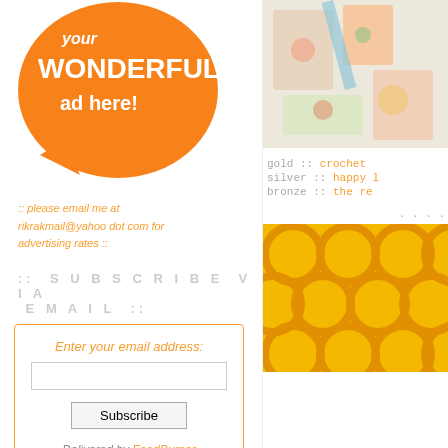[Figure (illustration): Orange speech bubble with white text 'your WONDERFUL ad here!']
:: please email me at rikrakmail@yahoo dot com for advertising rates ::
:: SUBSCRIBE VIA EMAIL ::
[Figure (screenshot): Subscribe by email form with email input, Subscribe button, and 'Delivered by FeedBurner' link]
[Figure (photo): Floral quilt/fabric with colorful patterns on a light background]
gold :: crochet
silver :: happy l
bronze :: the re
....
[Figure (photo): Yellow honeycomb pattern fabric/material]